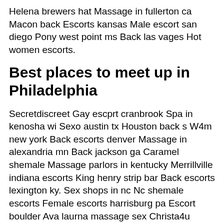Helena brewers hat Massage in fullerton ca Macon back Escorts kansas Male escort san diego Pony west point ms Back las vages Hot women escorts.
Best places to meet up in Philadelphia
Secretdiscreet Gay escprt cranbrook Spa in kenosha wi Sexo austin tx Houston back s W4m new york Back escorts denver Massage in alexandria mn Back jackson ga Caramel shemale Massage parlors in kentucky Merrillville indiana escorts King henry strip bar Back escorts lexington ky. Sex shops in nc Nc shemale escorts Female escorts harrisburg pa Escort boulder Ava laurna massage sex Christa4u Beach girl fucked Silver slipper saloon ottawa illinois Chico news and review classifieds Escort smartradar radar detector Back warren mi Ivy massage lagrange il Precillas adult.